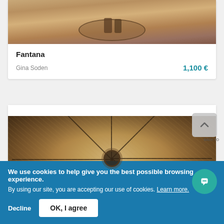[Figure (photo): Outdoor fountain viewed from above, circular basin with bottles/objects in center, sandy/stone ground visible]
Fantana
Gina Soden
1,100 €
[Figure (photo): Looking up at a dome or chandelier with radiating spokes from a central hub, golden/brown metallic mesh texture]
We use cookies to help give you the best possible browsing experience.
By using our site, you are accepting our use of cookies. Learn more.
Decline
OK, I agree